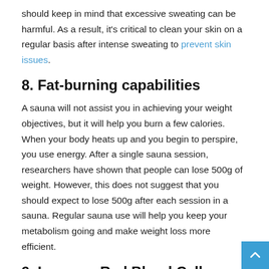should keep in mind that excessive sweating can be harmful. As a result, it's critical to clean your skin on a regular basis after intense sweating to prevent skin issues.
8. Fat-burning capabilities
A sauna will not assist you in achieving your weight objectives, but it will help you burn a few calories. When your body heats up and you begin to perspire, you use energy. After a single sauna session, researchers have shown that people can lose 500g of weight. However, this does not suggest that you should expect to lose 500g after each session in a sauna. Regular sauna use will help you keep your metabolism going and make weight loss more efficient.
9. Increase Red Blood Cell Count
The body's red blood cell creation can be increased via